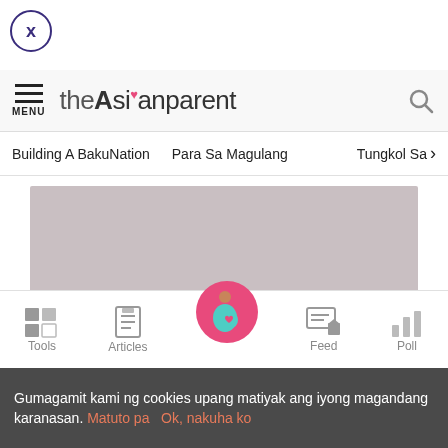[Figure (screenshot): Close button circle with X inside, purple border]
theAsianparent — MENU and search icon header
Building A BakuNation    Para Sa Magulang    Tungkol Sa >
[Figure (photo): Large grey placeholder image/banner area]
[Figure (infographic): Bottom navigation bar with Tools, Articles, center pregnant woman icon, Feed, Poll tabs]
Gumagamit kami ng cookies upang matiyak ang iyong magandang karanasan. Matuto pa    Ok, nakuha ko